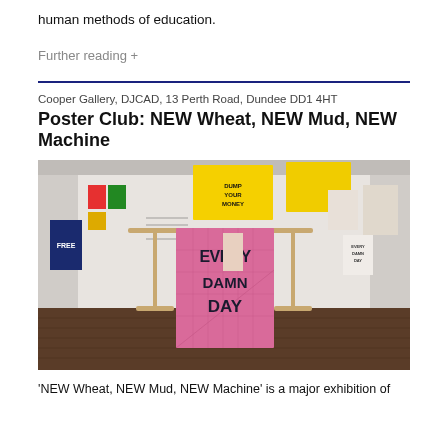human methods of education.
Further reading +
Cooper Gallery, DJCAD, 13 Perth Road, Dundee DD1 4HT
Poster Club: NEW Wheat, NEW Mud, NEW Machine
[Figure (photo): Gallery installation view showing posters and banners on display. Central feature is a large pink banner reading 'EVERY DAMN DAY' hanging on a wooden cross-shaped stand. Yellow banners hang from the ceiling, blue and other colourful posters line the white walls. Wooden parquet floor visible.]
'NEW Wheat, NEW Mud, NEW Machine' is a major exhibition of